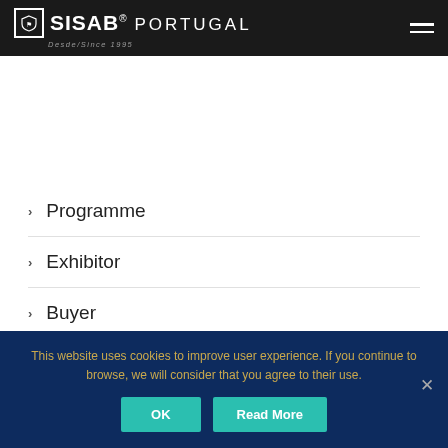[Figure (logo): SISAB Portugal logo with shield icon, white text on dark background, tagline Desde/Since 1995]
Programme
Exhibitor
Buyer
Contacts
This website uses cookies to improve user experience. If you continue to browse, we will consider that you agree to their use.
OK  Read More